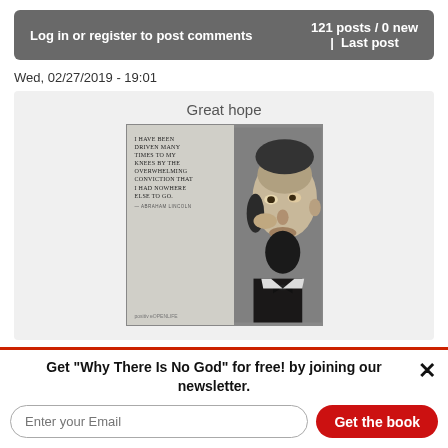Log in or register to post comments   121 posts / 0 new  |  Last post
Wed, 02/27/2019 - 19:01
Great hope
[Figure (photo): Black and white photo of Abraham Lincoln with a quote: 'I HAVE BEEN DRIVEN MANY TIMES TO MY KNEES BY THE OVERWHELMING CONVICTION THAT I HAD NOWHERE ELSE TO GO - ABRAHAM LINCOLN']
Intellectualize the spiritual
Get "Why There Is No God" for free! by joining our newsletter.